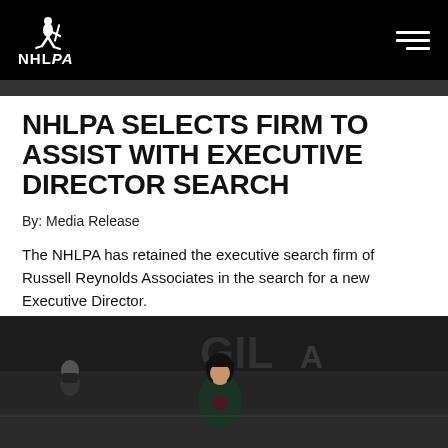NHLPA
NHLPA SELECTS FIRM TO ASSIST WITH EXECUTIVE DIRECTOR SEARCH
By: Media Release
The NHLPA has retained the executive search firm of Russell Reynolds Associates in the search for a new Executive Director.
AUGUST 8, 2022
[Figure (photo): Hockey player in dark jersey on ice rink, with another person in background wearing a mask]